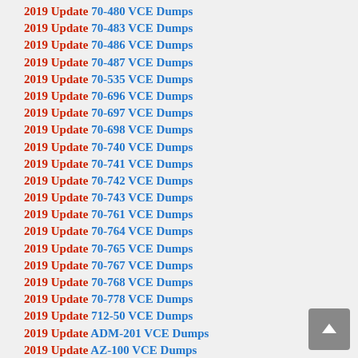2019 Update 70-480 VCE Dumps
2019 Update 70-483 VCE Dumps
2019 Update 70-486 VCE Dumps
2019 Update 70-487 VCE Dumps
2019 Update 70-535 VCE Dumps
2019 Update 70-696 VCE Dumps
2019 Update 70-697 VCE Dumps
2019 Update 70-698 VCE Dumps
2019 Update 70-740 VCE Dumps
2019 Update 70-741 VCE Dumps
2019 Update 70-742 VCE Dumps
2019 Update 70-743 VCE Dumps
2019 Update 70-761 VCE Dumps
2019 Update 70-764 VCE Dumps
2019 Update 70-765 VCE Dumps
2019 Update 70-767 VCE Dumps
2019 Update 70-768 VCE Dumps
2019 Update 70-778 VCE Dumps
2019 Update 712-50 VCE Dumps
2019 Update ADM-201 VCE Dumps
2019 Update AZ-100 VCE Dumps
2019 Update AZ-101 VCE Dumps